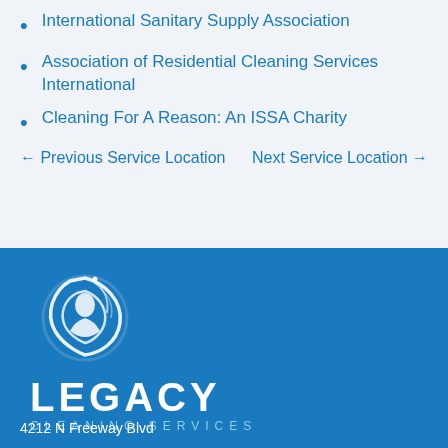International Sanitary Supply Association
Association of Residential Cleaning Services International
Cleaning For A Reason: An ISSA Charity
← Previous Service Location
Next Service Location →
[Figure (logo): Legacy Cleaning Services logo: white swirling leaf/flame icon above the text LEGACY in large white letters and CLEANING SERVICES in smaller spaced letters, on a blue background]
4212 N Freeway Blvd